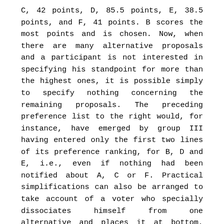C, 42 points, D, 85.5 points, E, 38.5 points, and F, 41 points. B scores the most points and is chosen. Now, when there are many alternative proposals and a participant is not interested in specifying his standpoint for more than the highest ones, it is possible simply to specify nothing concerning the remaining proposals. The preceding preference list to the right would, for instance, have emerged by group III having entered only the first two lines of its preference ranking, for B, D and E, i.e., even if nothing had been notified about A, C or F. Practical simplifications can also be arranged to take account of a voter who specially dissociates himself from one alternative and places it at bottom, while not being interested in marking differences on certain other alternatives preferred to the one definitely rejected. The preference list of group II above can serve as a moderate example of this, where the list produced could have assumed the following form: